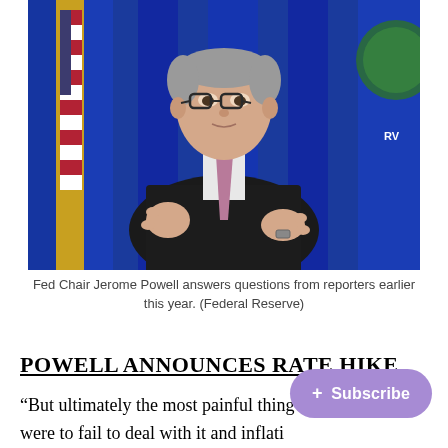[Figure (photo): Fed Chair Jerome Powell speaking at a press conference, gesturing with both hands, wearing a dark suit and pink tie, with an American flag and blue draped backdrop behind him, and a partial seal visible on the right.]
Fed Chair Jerome Powell answers questions from reporters earlier this year. (Federal Reserve)
POWELL ANNOUNCES RATE HIKE
“But ultimately the most painful thing would be if we were to fail to deal with it and inflation became entrenched in the economy at high levels… we know what that’s like,” he told Marketplace.org. “And that’s